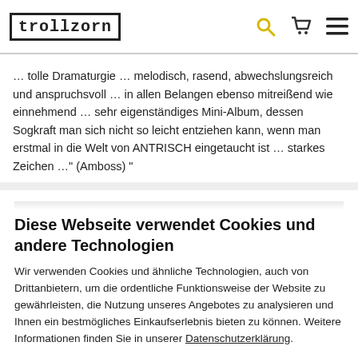trollzorn [logo] [search icon] [cart icon] [menu icon]
… tolle Dramaturgie … melodisch, rasend, abwechslungsreich und anspruchsvoll … in allen Belangen ebenso mitreißend wie einnehmend … sehr eigenständiges Mini-Album, dessen Sogkraft man sich nicht so leicht entziehen kann, wenn man erstmal in die Welt von ANTRISCH eingetaucht ist … starkes Zeichen …" (Amboss) "
Diese Webseite verwendet Cookies und andere Technologien
Wir verwenden Cookies und ähnliche Technologien, auch von Drittanbietern, um die ordentliche Funktionsweise der Website zu gewährleisten, die Nutzung unseres Angebotes zu analysieren und Ihnen ein bestmögliches Einkaufserlebnis bieten zu können. Weitere Informationen finden Sie in unserer Datenschutzerklärung.
Alle Akzeptieren
Weitere Informationen